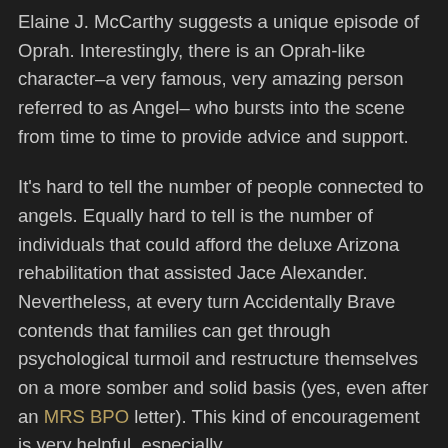Elaine J. McCarthy suggests a unique episode of Oprah. Interestingly, there is an Oprah-like character–a very famous, very amazing person referred to as Angel– who bursts into the scene from time to time to provide advice and support.
It's hard to tell the number of people connected to angels. Equally hard to tell is the number of individuals that could afford the deluxe Arizona rehabilitation that assisted Jace Alexander. Nevertheless, at every turn Accidentally Brave contends that families can get through psychological turmoil and restructure themselves on a more somber and solid basis (yes, even after an MRS BPO letter). This kind of encouragement is very helpful, especially